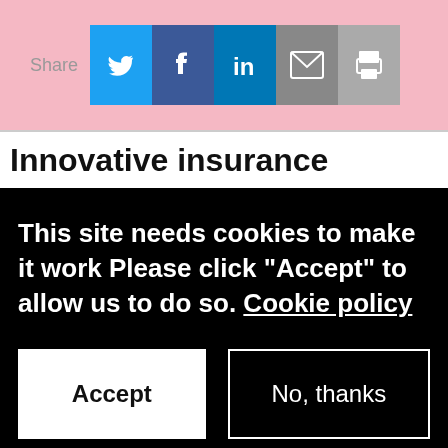Share
Innovative insurance
This site needs cookies to make it work Please click "Accept" to allow us to do so. Cookie policy
Accept
No, thanks